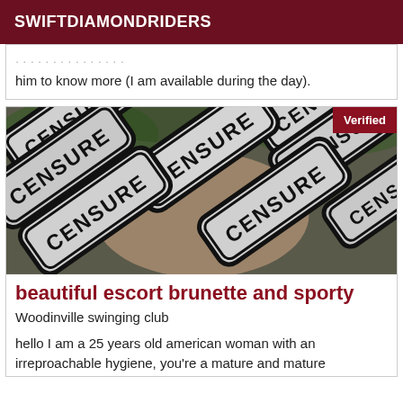SWIFTDIAMONDRIDERS
him to know more (I am available during the day).
[Figure (photo): Censored image with multiple overlapping 'CENSURE' stencil signs on a photo background. A red 'Verified' badge is in the top right corner.]
beautiful escort brunette and sporty
Woodinville swinging club
hello I am a 25 years old american woman with an irreproachable hygiene, you're a mature and mature